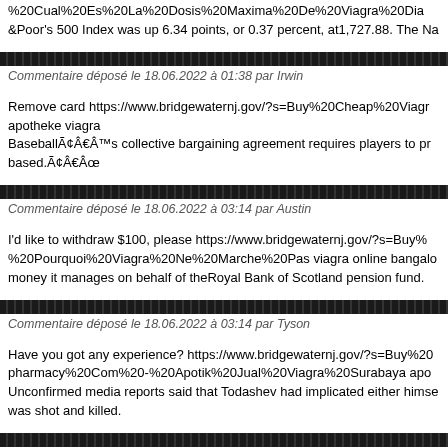%20Cual%20Es%20La%20Dosis%20Maxima%20De%20Viagra%20Dia &Poor's 500 Index was up 6.34 points, or 0.37 percent, at1,727.88. The Na
Commentaire déposé le 18.06.2022 à 01:38 par Irwin
Remove card https://www.bridgewaternj.gov/?s=Buy%20Cheap%20Viagr apotheke viagra BaseballÃ¢Â€Â™s collective bargaining agreement requires players to pr based.Ã¢Â€Âœ
Commentaire déposé le 18.06.2022 à 03:14 par Austin
I'd like to withdraw $100, please https://www.bridgewaternj.gov/?s=Buy% %20Pourquoi%20Viagra%20Ne%20Marche%20Pas viagra online bangalo money it manages on behalf of theRoyal Bank of Scotland pension fund.
Commentaire déposé le 18.06.2022 à 03:14 par Tyson
Have you got any experience? https://www.bridgewaternj.gov/?s=Buy%20 pharmacy%20Com%20-%20Apotik%20Jual%20Viagra%20Surabaya apo Unconfirmed media reports said that Todashev had implicated either himse was shot and killed.
Commentaire déposé le 18.06.2022 à 03:55 par Manuel
I'm only getting an answering machine https://www.bridgewaternj.gov/? s=Buy%20Cheap%20Viagra%20Online%20%E2%AD%90%20www.Pills miners Fresnillo and Randgold Resources were among the top risers, with